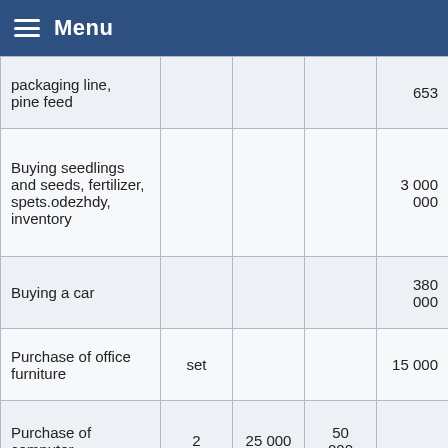Menu
| Item | Qty | Unit Price | Total | Amount |
| --- | --- | --- | --- | --- |
| packaging line, pine feed |  |  |  | 653 |
| Buying seedlings and seeds, fertilizer, spets.odezhdy, inventory |  |  |  | 3 000 000 |
| Buying a car |  |  |  | 380 000 |
| Purchase of office furniture | set |  |  | 15 000 |
| Purchase of computer | 2 | 25 000 | 50 000 |  |